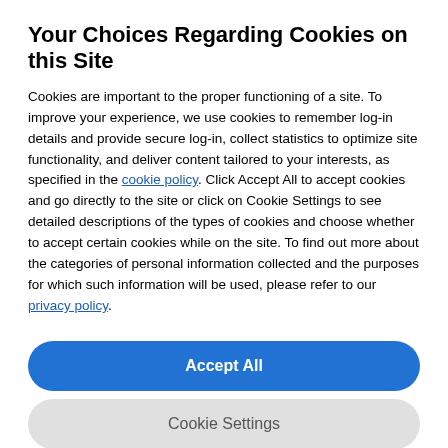Your Choices Regarding Cookies on this Site
Cookies are important to the proper functioning of a site. To improve your experience, we use cookies to remember log-in details and provide secure log-in, collect statistics to optimize site functionality, and deliver content tailored to your interests, as specified in the cookie policy. Click Accept All to accept cookies and go directly to the site or click on Cookie Settings to see detailed descriptions of the types of cookies and choose whether to accept certain cookies while on the site. To find out more about the categories of personal information collected and the purposes for which such information will be used, please refer to our privacy policy.
Accept All
Cookie Settings
3. Take an online quiz
It is worthwhile taking online aptitude tests and quizzes to help you explore your strengths, key skills and what your ideal career might be. Hit the button below to take